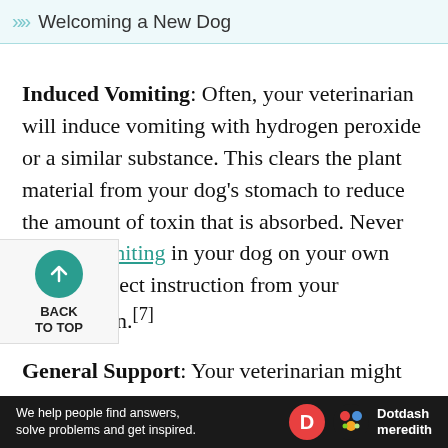Welcoming a New Dog
Induced Vomiting: Often, your veterinarian will induce vomiting with hydrogen peroxide or a similar substance. This clears the plant material from your dog's stomach to reduce the amount of toxin that is absorbed. Never induce vomiting in your dog on your own without direct instruction from your veterinarian.[7]
General Support: Your veterinarian might give dog IV fluids with medications to help ce nausea and vomiting, as well as ward off dration, if your dog is vomiting profusely or experiencing severe diarrhea. If the dog is...
[Figure (other): Back to Top button with teal upward arrow circle icon]
[Figure (logo): Dotdash Meredith advertisement banner — white text on dark background with red D circle logo and colorful dots logo]